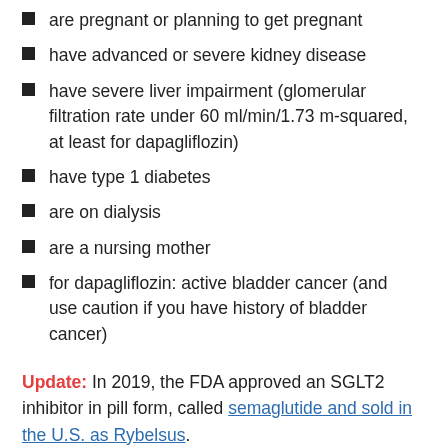are pregnant or planning to get pregnant
have advanced or severe kidney disease
have severe liver impairment (glomerular filtration rate under 60 ml/min/1.73 m-squared, at least for dapagliflozin)
have type 1 diabetes
are on dialysis
are a nursing mother
for dapagliflozin: active bladder cancer (and use caution if you have history of bladder cancer)
Update: In 2019, the FDA approved an SGLT2 inhibitor in pill form, called semaglutide and sold in the U.S. as Rybelsus.
Updated September 26, 2019